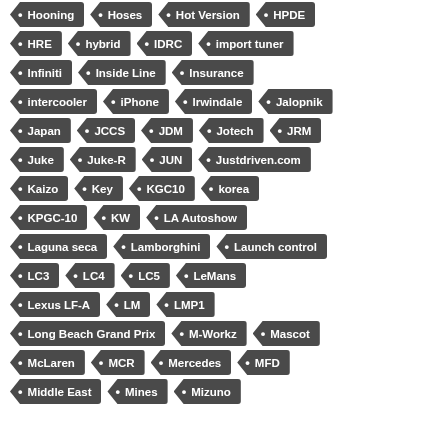Hooning
Hoses
Hot Version
HPDE
HRE
hybrid
IDRC
import tuner
Infiniti
Inside Line
Insurance
intercooler
iPhone
Irwindale
Jalopnik
Japan
JCCS
JDM
Jotech
JRM
Juke
Juke-R
JUN
Justdriven.com
Kaizo
Key
KGC10
korea
KPGC-10
KW
LA Autoshow
Laguna seca
Lamborghini
Launch control
LC3
LC4
LC5
LeMans
Lexus LF-A
LM
LMP1
Long Beach Grand Prix
M-Workz
Mascot
McLaren
MCR
Mercedes
MFD
Middle East
Mines
Mizuno